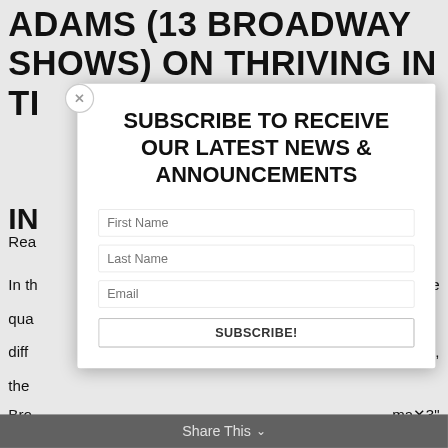ADAMS (13 BROADWAY SHOWS) ON THRIVING IN TI
IN
Rea
In th the
qua
diff udies,
the
Bro ma✕3"
[Figure (screenshot): A modal popup dialog overlaying the page content with a close button (X), heading text 'SUBSCRIBE TO RECEIVE OUR LATEST NEWS & ANNOUNCEMENTS', and a subscription form with First Name, Last Name, Email input fields and a SUBSCRIBE! button]
Share This ∨